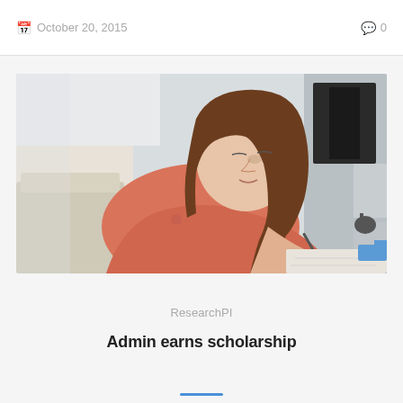October 20, 2015   0
[Figure (photo): Young woman with long brown hair wearing a pink/coral top, leaning over a desk writing or studying, indoor home setting with couch and kitchen visible in background. A small circular avatar of a man's face overlays the bottom center of the photo.]
ResearchPI
Admin earns scholarship